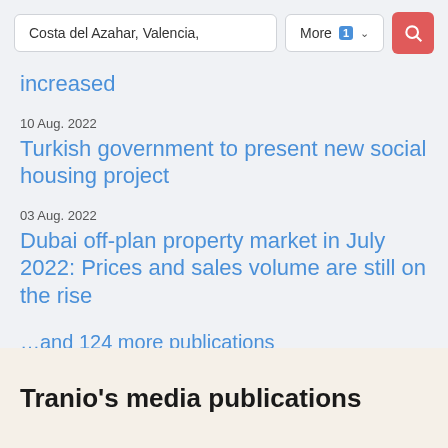[Figure (screenshot): Search bar with 'Costa del Azahar, Valencia,' input, 'More 1' dropdown button, and red search icon button]
increased
10 Aug. 2022
Turkish government to present new social housing project
03 Aug. 2022
Dubai off-plan property market in July 2022: Prices and sales volume are still on the rise
…and 124 more publications
Tranio's media publications